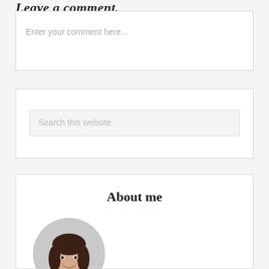Leave a comment,
Enter your comment here...
Search this website
About me
[Figure (photo): Circular portrait photo of a woman with dark hair, smiling, wearing a light teal/mint colored top, against a grey background]